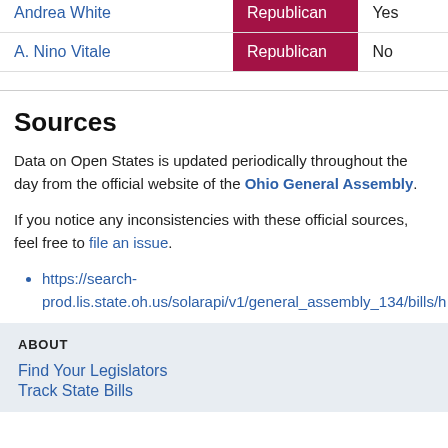| Name | Party | Vote |
| --- | --- | --- |
| Andrea White | Republican | Yes |
| A. Nino Vitale | Republican | No |
Sources
Data on Open States is updated periodically throughout the day from the official website of the Ohio General Assembly.
If you notice any inconsistencies with these official sources, feel free to file an issue.
https://search-prod.lis.state.oh.us/solarapi/v1/general_assembly_134/bills/h
ABOUT
Find Your Legislators
Track State Bills